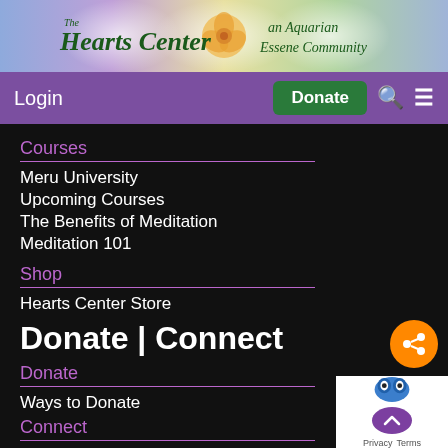[Figure (logo): The Hearts Center — an Aquarian Essene Community banner with colorful gradient background and rose flower logo]
Login  Donate
Courses
Meru University
Upcoming Courses
The Benefits of Meditation
Meditation 101
Shop
Hearts Center Store
Donate | Connect
Donate
Ways to Donate
Connect
Volunteer!